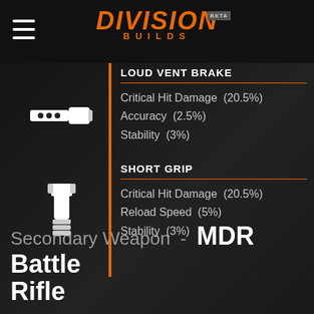DIVISION BUILDS BETA
LOUD VENT BRAKE
Critical Hit Damage  (20.5%)
Accuracy  (2.5%)
Stability  (3%)
SHORT GRIP
Critical Hit Damage  (20.5%)
Reload Speed  (5%)
Stability  (3%)
Secondary Weapon - MDR Battle Rifle